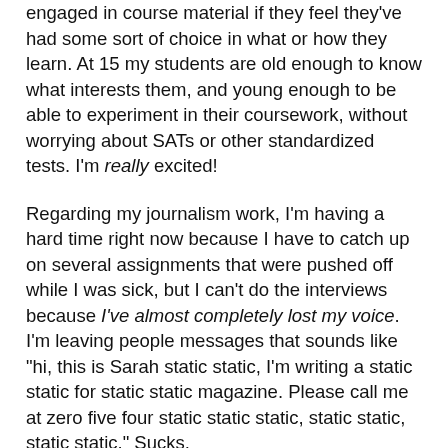engaged in course material if they feel they've had some sort of choice in what or how they learn. At 15 my students are old enough to know what interests them, and young enough to be able to experiment in their coursework, without worrying about SATs or other standardized tests. I'm really excited!
Regarding my journalism work, I'm having a hard time right now because I have to catch up on several assignments that were pushed off while I was sick, but I can't do the interviews because I've almost completely lost my voice. I'm leaving people messages that sounds like "hi, this is Sarah static static, I'm writing a static static for static static magazine. Please call me at zero five four static static static, static static, static static." Sucks.
Did you know that President Bush is coming to Israel? I'm sure the American and local media will make a big deal out of it, but you know what? Everyone I speak to knows the truth: He's coming to try to follow up on the Annapolis thing, so that the Annapolis thing won't be completely meaningless. But we all know that it is meaningless. So this visit is